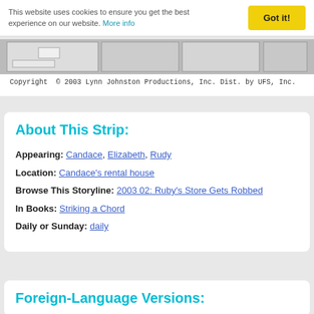This website uses cookies to ensure you get the best experience on our website. More info
[Figure (illustration): Comic strip panels showing characters in black and white]
Copyright © 2003 Lynn Johnston Productions, Inc. Dist. by UFS, Inc.
About This Strip:
Appearing: Candace, Elizabeth, Rudy
Location: Candace's rental house
Browse This Storyline: 2003 02: Ruby's Store Gets Robbed
In Books: Striking a Chord
Daily or Sunday: daily
Foreign-Language Versions: